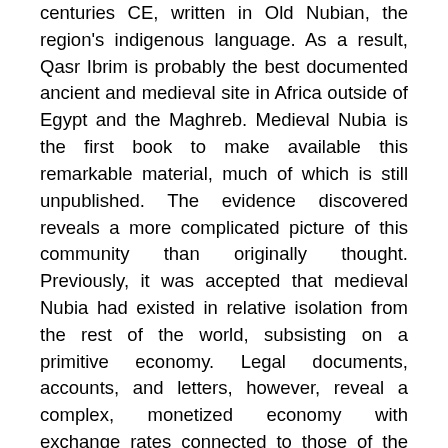centuries CE, written in Old Nubian, the region's indigenous language. As a result, Qasr Ibrim is probably the best documented ancient and medieval site in Africa outside of Egypt and the Maghreb. Medieval Nubia is the first book to make available this remarkable material, much of which is still unpublished. The evidence discovered reveals a more complicated picture of this community than originally thought. Previously, it was accepted that medieval Nubia had existed in relative isolation from the rest of the world, subsisting on a primitive economy. Legal documents, accounts, and letters, however, reveal a complex, monetized economy with exchange rates connected to those of the wider world. Furthermore, they reveal public festive practices, in which lavish feasting and food gifts reinforced the social conventions of the...